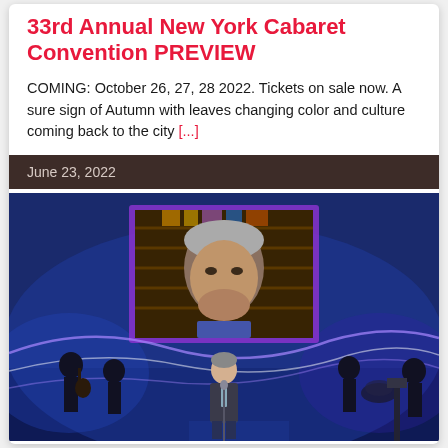33rd Annual New York Cabaret Convention PREVIEW
COMING: October 26, 27, 28 2022. Tickets on sale now. A sure sign of Autumn with leaves changing color and culture coming back to the city [...]
June 23, 2022
[Figure (photo): A performer stands on stage at the New York Cabaret Convention, with a large projection screen behind showing a close-up of a man's face. The stage is lit in blue with musicians visible in the background.]